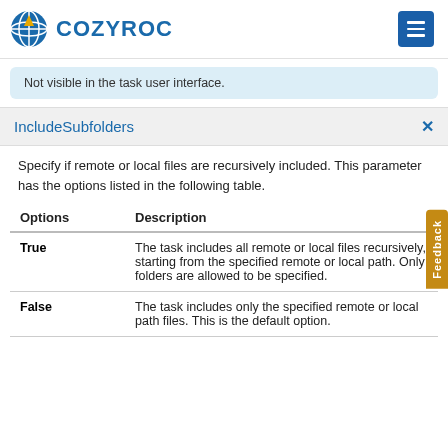COZYROC
Not visible in the task user interface.
IncludeSubfolders
Specify if remote or local files are recursively included. This parameter has the options listed in the following table.
| Options | Description |
| --- | --- |
| True | The task includes all remote or local files recursively, starting from the specified remote or local path. Only folders are allowed to be specified. |
| False | The task includes only the specified remote or local path files. This is the default option. |